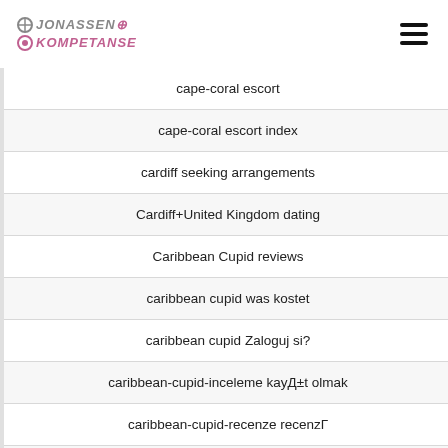Jonassen Kompetanse
cape-coral escort
cape-coral escort index
cardiff seeking arrangements
Cardiff+United Kingdom dating
Caribbean Cupid reviews
caribbean cupid was kostet
caribbean cupid Zaloguj si?
caribbean-cupid-inceleme kayД±t olmak
caribbean-cupid-recenze recenzГ
caribbeancupid come funziona